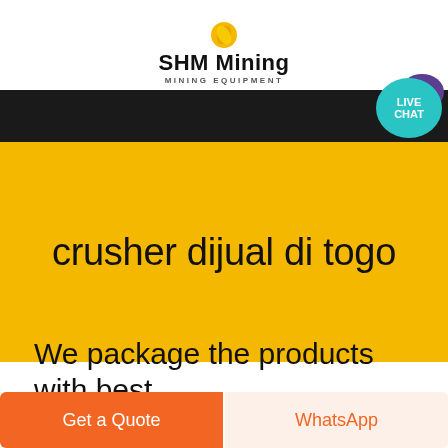SHM Mining
MINING EQUIPMENT
[Figure (screenshot): Black navigation bar with live chat bubble icon (teal circle with LIVE CHAT text, purple speech bubble icon)]
crusher dijual di togo
We package the products with best
Get a Quote
WhatsApp